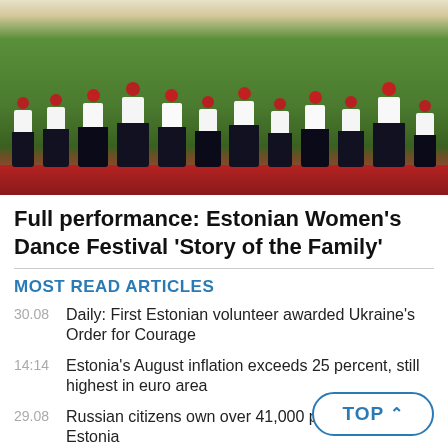[Figure (photo): Women in traditional Estonian folk costumes with black skirts and white tops with red accents, red hats, performing a folk dance at an outdoor venue with a red track visible at the bottom.]
Full performance: Estonian Women's Dance Festival 'Story of the Family'
MOST READ ARTICLES
30.08 Daily: First Estonian volunteer awarded Ukraine's Order for Courage
14:14 Estonia's August inflation exceeds 25 percent, still highest in euro area
29.08 Russian citizens own over 41,000 properties in Estonia
08:42 Gallery: Mikhail Gorba...